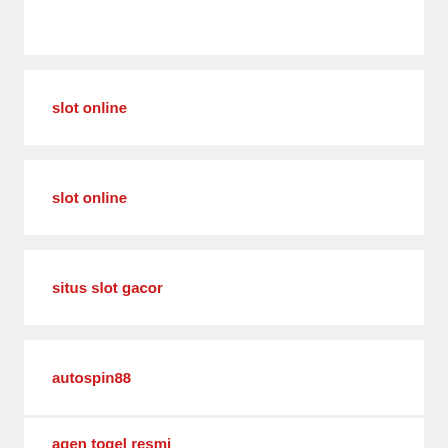slot online
slot online
situs slot gacor
autospin88
agen togel resmi